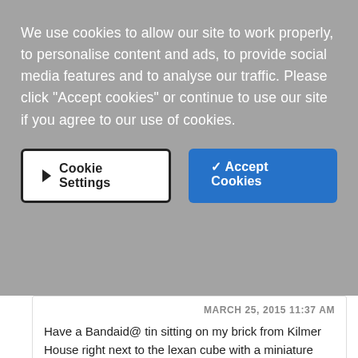We use cookies to allow our site to work properly, to personalise content and ads, to provide social media features and to analyse our traffic. Please click “Accept cookies” or continue to use our site if you agree to our use of cookies.
[Figure (screenshot): Two buttons: 'Cookie Settings' (white background, dark border, arrow icon) and '✓ Accept Cookies' (blue background)]
MARCH 25, 2015 11:37 AM
Have a Bandaid@ tin sitting on my brick from Kilmer House right next to the lexan cube with a miniature Daytime Diaper carton in it. Sorry my keyboard doesn't have the "registered" symbol; did the best I could. Hopefully, the ghost of Dave Clare doesn't come to haunt me.
[Figure (screenshot): Red oval Reply button]
Adam
[Figure (screenshot): User avatar placeholder (grey circle with person silhouette)]
[Figure (screenshot): Empty comment input area]